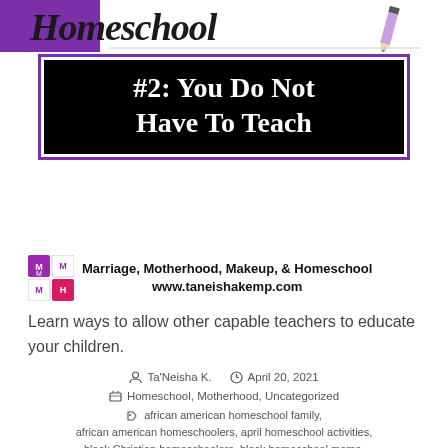[Figure (illustration): Homeschool script text banner with purple marker/pencil graphic on white background]
#2: You Do Not Have To Teach
Marriage, Motherhood, Makeup, & Homeschool
www.taneishakemp.com
Learn ways to allow other capable teachers to educate your children.
Ta'Neisha K.   April 20, 2021
Homeschool, Motherhood, Uncategorized
african american homeschool family,
african american homeschoolers, april homeschool activities,
black Christian homeschoolers, black homeschool moms,
black homeschoolers, christian academy, Christian encouragement,
encouragement for moms, homeschool encouragement,